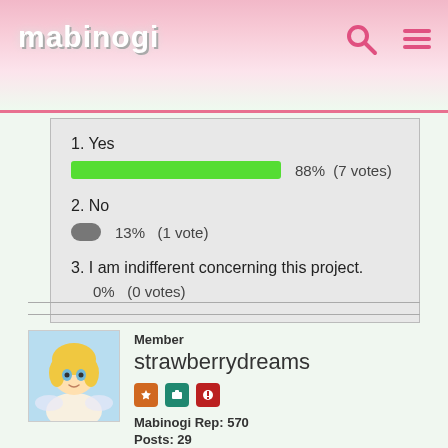mabinogi
[Figure (bar-chart): Poll results]
Member
strawberrydreams
Mabinogi Rep: 570
Posts: 29